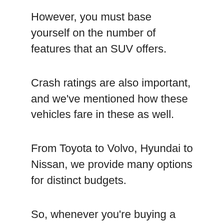However, you must base yourself on the number of features that an SUV offers.
Crash ratings are also important, and we've mentioned how these vehicles fare in these as well.
From Toyota to Volvo, Hyundai to Nissan, we provide many options for distinct budgets.
So, whenever you're buying a used SUV and safety is on top of your list, this article will help you decide.